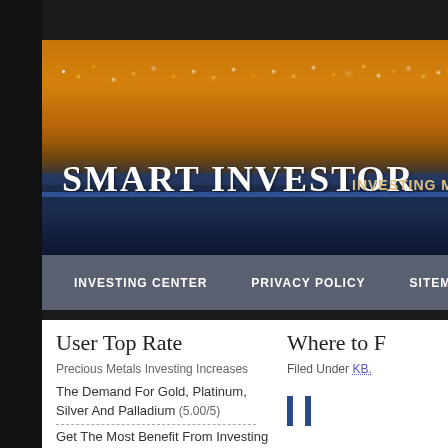[Figure (photo): Night cityscape header image showing a bridge with lights over water, orange/amber sky, city lights in background]
SMART INVESTOR  INVESTING MON
INVESTING CENTER   PRIVACY POLICY   SITEMAP
User Top Rate
Precious Metals Investing Increases
The Demand For Gold, Platinum,
Silver And Palladium (5.00/5)
Get The Most Benefit From Investing
Where to F
Filed Under KB.